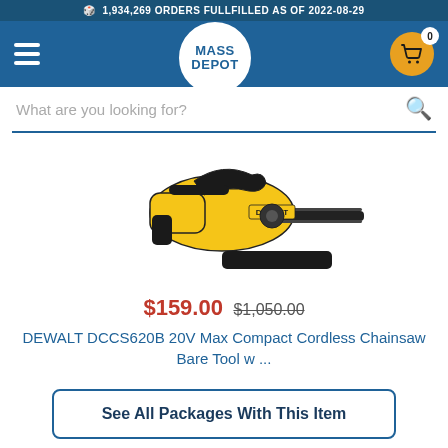1,934,269 ORDERS FULLFILLED AS OF 2022-08-29
[Figure (logo): Mass Depot logo - circular white logo with blue text MASS DEPOT on blue navigation bar with hamburger menu on left and shopping cart icon with badge 0 on right]
What are you looking for?
[Figure (photo): DEWALT DCCS620B 20V Max Compact Cordless Chainsaw product photo showing yellow and black chainsaw with chain bar and carrying case bar cover]
$159.00 $1,050.00
DEWALT DCCS620B 20V Max Compact Cordless Chainsaw Bare Tool w ...
See All Packages With This Item